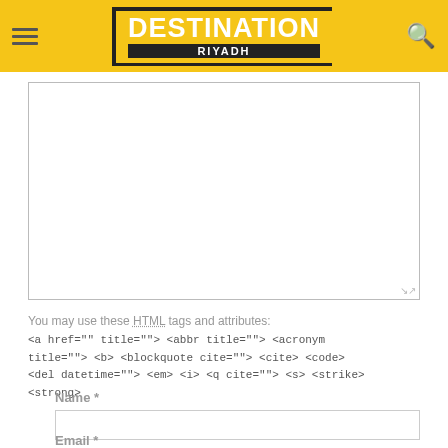DESTINATION RIYADH
[Figure (screenshot): Textarea comment input box (empty, white background with border)]
You may use these HTML tags and attributes:
<a href="" title=""> <abbr title=""> <acronym title=""> <b> <blockquote cite=""> <cite> <code> <del datetime=""> <em> <i> <q cite=""> <s> <strike> <strong>
Name *
Email *